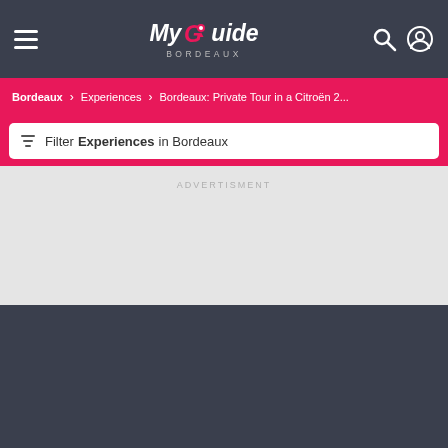My Guide BORDEAUX
Bordeaux > Experiences > Bordeaux: Private Tour in a Citroën 2...
Filter Experiences in Bordeaux
ADVERTISMENT
[Figure (photo): Photo of Bordeaux classical building with columns and a Citroën 2CV car in the foreground]
[Figure (photo): Photo of people in a vintage convertible car with Bordeaux classical architecture in the background]
Reserve Your Experience
Bordeaux: Private Tour in a Citroën 2CV
BOOK NOW